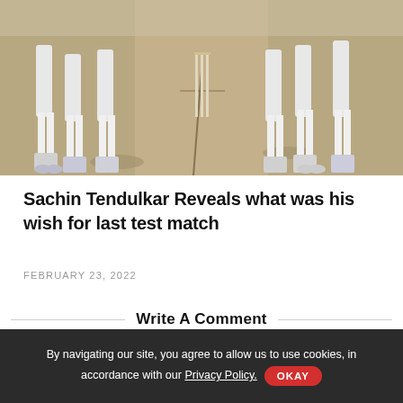[Figure (photo): Cricket players on a pitch, shot from ground level showing legs and feet in white uniforms on a sandy/dirt cricket ground]
Sachin Tendulkar Reveals what was his wish for last test match
FEBRUARY 23, 2022
Write A Comment
Name
By navigating our site, you agree to allow us to use cookies, in accordance with our Privacy Policy. OKAY